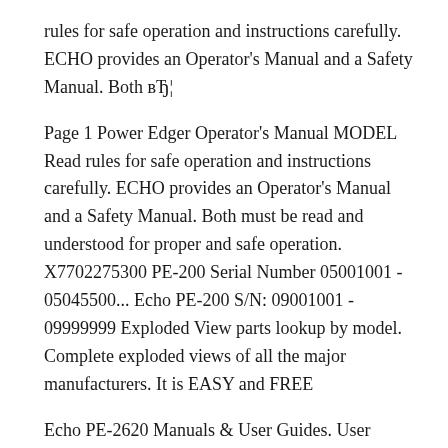rules for safe operation and instructions carefully. ECHO provides an Operator's Manual and a Safety Manual. Both вЂ¦
Page 1 Power Edger Operator's Manual MODEL Read rules for safe operation and instructions carefully. ECHO provides an Operator's Manual and a Safety Manual. Both must be read and understood for proper and safe operation. X7702275300 PE-200 Serial Number 05001001 - 05045500... Echo PE-200 S/N: 09001001 - 09999999 Exploded View parts lookup by model. Complete exploded views of all the major manufacturers. It is EASY and FREE
Echo PE-2620 Manuals & User Guides. User Manuals, Guides and Specifications for your Echo